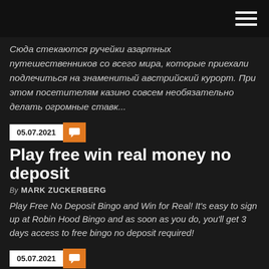Сюда стекаются ручейки азартных путешественников со всего мира, которые приехали подлечиться на знаменитый австрийский курорт. При этом посетителям казино совсем необязательно делать огромные ставк...
05.07.2021
Play free win real money no deposit
By MARK ZUCKERBERG
Play Free No Deposit Bingo and Win for Real! It's easy to sign up at Robin Hood Bingo and as soon as you do, you'll get 3 days access to free bingo no deposit required!
05.07.2021
Casino sites uk big casino bonus